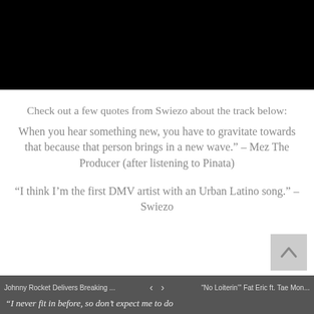[Figure (photo): Black rectangle at top of page, representing a video player or dark image area]
Check out a few quotes from Swiezo about the track below:
When you hear something new, you have to gravitate towards that because that person brings in a new wave.” – Mez The Producer (after listening to Pinata)
“I think I’m the first DMV artist with an Urban Latino song.” – Swiezo
Johnny Rocket Delivers Breaking ... < > "No Loiterin'" Fat Eric ft. Tae Mon... “I never fit in before, so don’t expect me to do